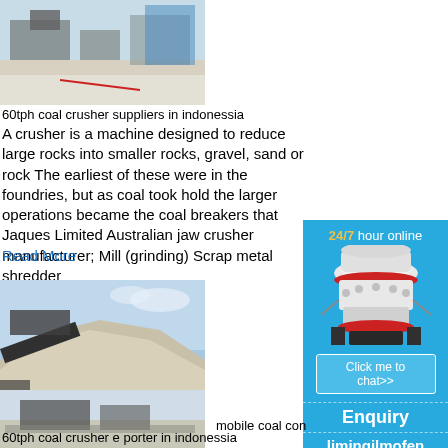[Figure (photo): Industrial coal crusher facility, aerial/ground view with machinery and white powder/coal on ground]
60tph coal crusher suppliers in indonessia
A crusher is a machine designed to reduce large rocks into smaller rocks, gravel, sand or rock The earliest of these were in the foundries, but as coal took hold the larger operations became the coal breakers that Jaques Limited Australian jaw crusher manufacturer; Mill (grinding) Scrap metal shredder
Read More
[Figure (photo): Large pile of gravel/aggregate at a stone crushing site with conveyor equipment]
60tph coal crusher e porter in indonessia
[Figure (photo): Mining/crushing facility with conveyor belts and machinery]
mobile coal con
[Figure (infographic): Blue sidebar advertisement: 24/7 hour online, image of cone crusher machine, Click me to chat>> button, Enquiry section, limingjlmofen text]